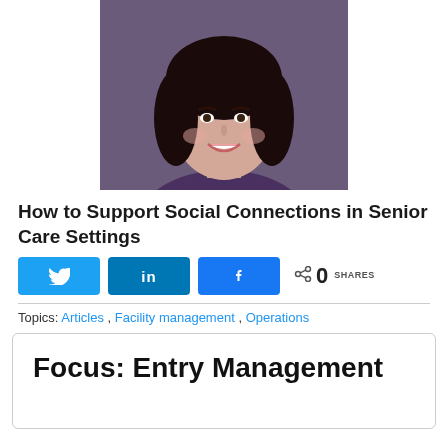[Figure (photo): Headshot of a smiling woman with dark curly hair wearing a purple blazer, against a dark background.]
How to Support Social Connections in Senior Care Settings
[Figure (infographic): Social sharing buttons: Twitter, LinkedIn, Facebook, and a share count showing 0 SHARES.]
Topics: Articles , Facility management , Operations
Focus: Entry Management